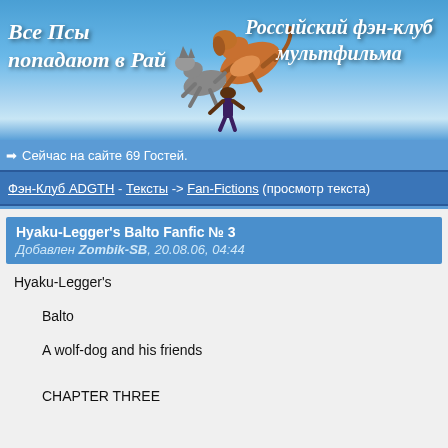[Figure (illustration): Header banner with blue sky and clouds background. Left side shows Russian italic text 'Все Псы попадают в Рай'. Center shows cartoon dog characters. Right side shows text 'Российский фэн-клуб мультфильма'.]
➡ Сейчас на сайте 69 Гостей.
Фэн-Клуб ADGTH - Тексты -> Fan-Fictions (просмотр текста)
Hyaku-Legger's Balto Fanfic № 3 Добавлен Zombik-SB, 20.08.06, 04:44
Hyaku-Legger's
Balto
A wolf-dog and his friends
CHAPTER THREE